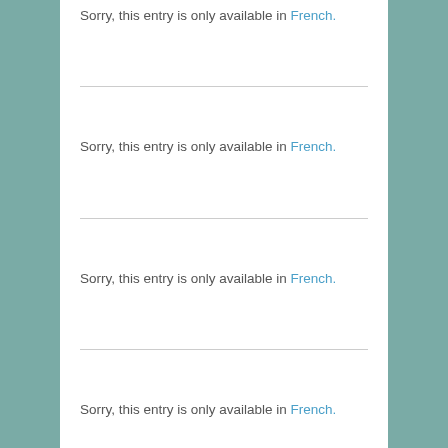Sorry, this entry is only available in French.
Sorry, this entry is only available in French.
Sorry, this entry is only available in French.
Sorry, this entry is only available in French.
COMPTE RENDU DU CONSEIL DU 17 DÉCEMBRE